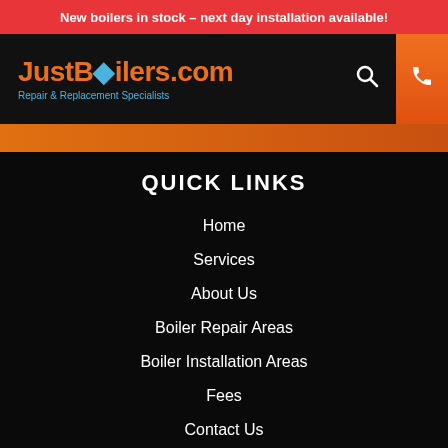New boilers in stock – next day installation available!
[Figure (logo): JustBoilers.com logo with flame icon and tagline 'Repair & Replacement Specialists', with search, menu, and phone icons on dark header]
QUICK LINKS
Home
Services
About Us
Boiler Repair Areas
Boiler Installation Areas
Fees
Contact Us